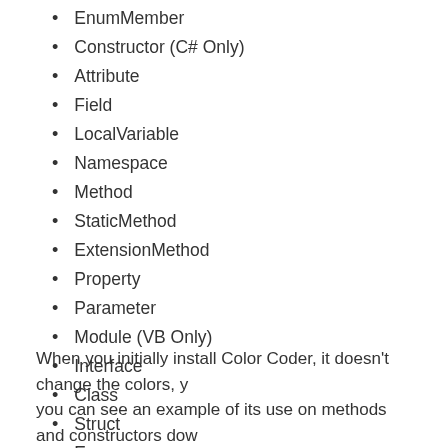EnumMember
Constructor (C# Only)
Attribute
Field
LocalVariable
Namespace
Method
StaticMethod
ExtensionMethod
Property
Parameter
Module (VB Only)
Interface
Class
Struct
Enum
Delegate
GenericTypeParameter
When you initially install Color Coder, it doesn't change the colors, you can see an example of its use on methods and constructors dow